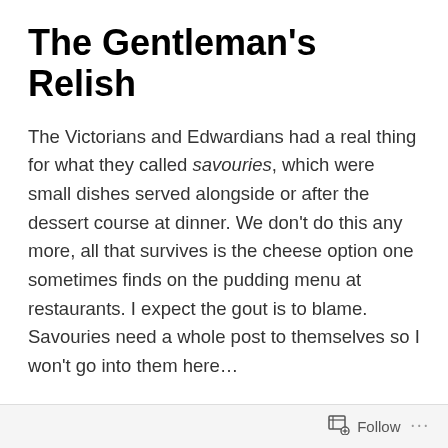The Gentleman's Relish
The Victorians and Edwardians had a real thing for what they called savouries, which were small dishes served alongside or after the dessert course at dinner. We don't do this any more, all that survives is the cheese option one sometimes finds on the pudding menu at restaurants. I expect the gout is to blame. Savouries need a whole post to themselves so I won't go into them here…
For me, Gentleman's Relish is the savoury that really conjures up romantic images of that era, I think just for the name alone. I can just imagine the bank manager or maybe a member of the British Raj eating a slice of toast, relish melting and seeping into it, as he reminisces of
Follow